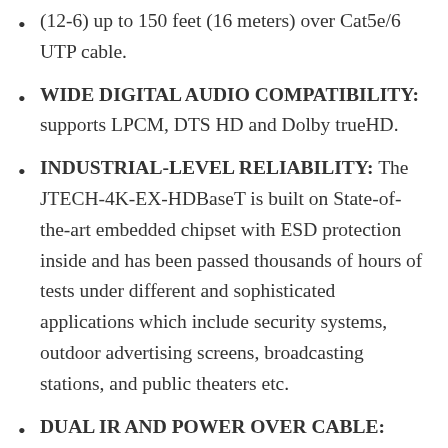(12-6) up to 150 feet (16 meters) over Cat5e/6 UTP cable.
WIDE DIGITAL AUDIO COMPATIBILITY: supports LPCM, DTS HD and Dolby trueHD.
INDUSTRIAL-LEVEL RELIABILITY: The JTECH-4K-EX-HDBaseT is built on State-of-the-art embedded chipset with ESD protection inside and has been passed thousands of hours of tests under different and sophisticated applications which include security systems, outdoor advertising screens, broadcasting stations, and public theaters etc.
DUAL IR AND POWER OVER CABLE: Extends IR signal from source to receiver or from transmitter to receiver.
For better performance, we suggest use J-Tech